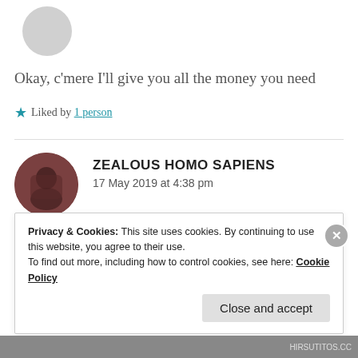[Figure (photo): Circular avatar image, gray/light colored, top left area]
Okay, c'mere I'll give you all the money you need
★ Liked by 1 person
[Figure (photo): Circular avatar photo of a person with dark hair, reddish-brown toned image]
ZEALOUS HOMO SAPIENS
17 May 2019 at 4:38 pm
Privacy & Cookies: This site uses cookies. By continuing to use this website, you agree to their use.
To find out more, including how to control cookies, see here: Cookie Policy
Close and accept